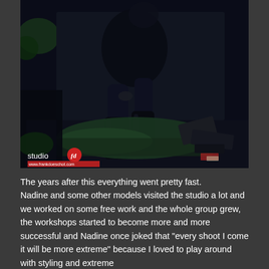[Figure (photo): A dark, moody photograph of a person dressed in black clothing and tall black boots, sitting/crouching on a moss-covered stone or surface in what appears to be an abandoned or ruined outdoor setting. Debris and rubble are visible around the figure. The image is very dark with cool blue-green tones. A studio logo 'studio fd' with a red circle and the URL www.frankdoeschot.com appears in the bottom-left corner of the photo.]
The years after this everything went pretty fast. Nadine and some other models visited the studio a lot and we worked on some free work and the whole group grew, the workshops started to become more and more successful and Nadine once joked that "every shoot I come it will be more extreme" because I loved to play around with styling and extreme